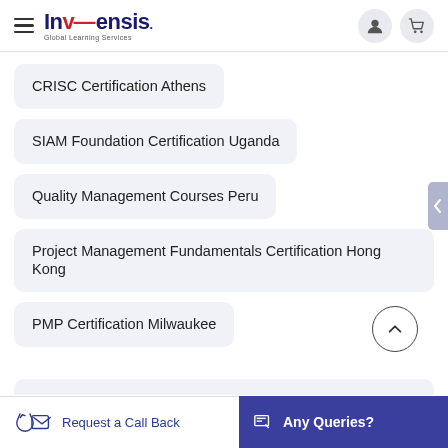Invensis Global Learning Services
CRISC Certification Athens
SIAM Foundation Certification Uganda
Quality Management Courses Peru
Project Management Fundamentals Certification Hong Kong
PMP Certification Milwaukee
Request a Call Back | Any Queries?